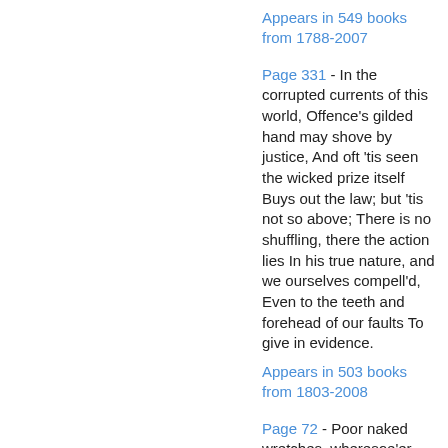Appears in 549 books from 1788-2007
Page 331 - In the corrupted currents of this world, Offence's gilded hand may shove by justice, And oft 'tis seen the wicked prize itself Buys out the law; but 'tis not so above; There is no shuffling, there the action lies In his true nature, and we ourselves compell'd, Even to the teeth and forehead of our faults To give in evidence.
Appears in 503 books from 1803-2008
Page 72 - Poor naked wretches, wheresoe'er